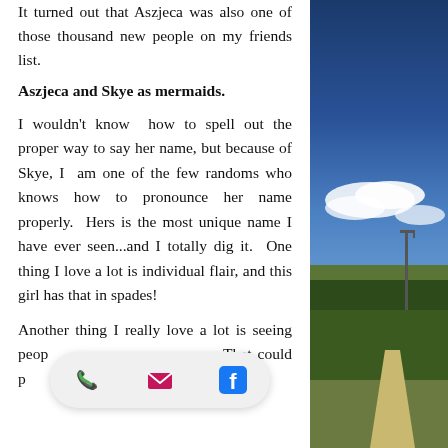It turned out that Aszjeca was also one of those thousand new people on my friends list.
Aszjeca and Skye as mermaids.
I wouldn't know  how to spell out the proper way to say her name, but because of Skye, I  am one of the few randoms who knows how to pronounce her name properly.  Hers is the most unique name I have ever seen...and I totally dig it.  One thing I love a lot is individual flair, and this girl has that in spades!
Another thing I really love a lot is seeing people... That could p... thing
[Figure (photo): Outdoor photo showing a road with a street lamp, blue sky with clouds, and forested hillside on the right side of the page.]